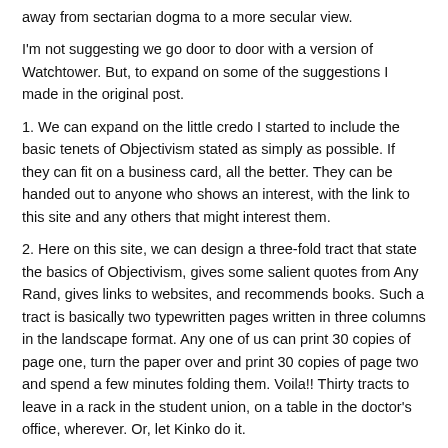away from sectarian dogma to a more secular view.
I'm not suggesting we go door to door with a version of Watchtower. But, to expand on some of the suggestions I made in the original post.
1. We can expand on the little credo I started to include the basic tenets of Objectivism stated as simply as possible. If they can fit on a business card, all the better. They can be handed out to anyone who shows an interest, with the link to this site and any others that might interest them.
2. Here on this site, we can design a three-fold tract that state the basics of Objectivism, gives some salient quotes from Any Rand, gives links to websites, and recommends books. Such a tract is basically two typewritten pages written in three columns in the landscape format. Any one of us can print 30 copies of page one, turn the paper over and print 30 copies of page two and spend a few minutes folding them. Voila!! Thirty tracts to leave in a rack in the student union, on a table in the doctor's office, wherever. Or, let Kinko do it.
I know there are better ideas than these, but it's late here and